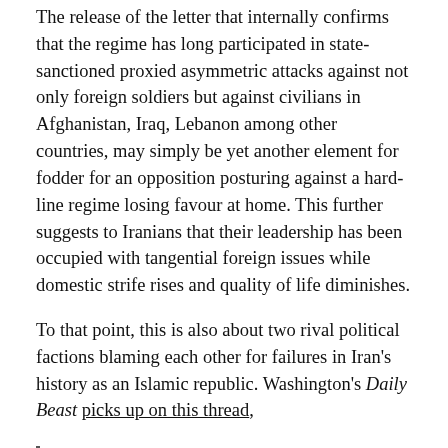The release of the letter that internally confirms that the regime has long participated in state-sanctioned proxied asymmetric attacks against not only foreign soldiers but against civilians in Afghanistan, Iraq, Lebanon among other countries, may simply be yet another element for fodder for an opposition posturing against a hard-line regime losing favour at home. This further suggests to Iranians that their leadership has been occupied with tangential foreign issues while domestic strife rises and quality of life diminishes.
To that point, this is also about two rival political factions blaming each other for failures in Iran's history as an Islamic republic. Washington's Daily Beast picks up on this thread,
“This letter has historical significance now.” Banisadr told The Daily Beast in a